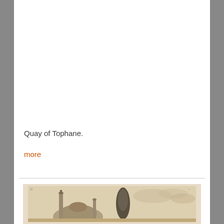Quay of Tophane.
more
[Figure (illustration): Historical illustration showing domed mosque architecture with a minaret and a cypress tree in the foreground, in sepia/beige tones. Partially visible at bottom of page.]